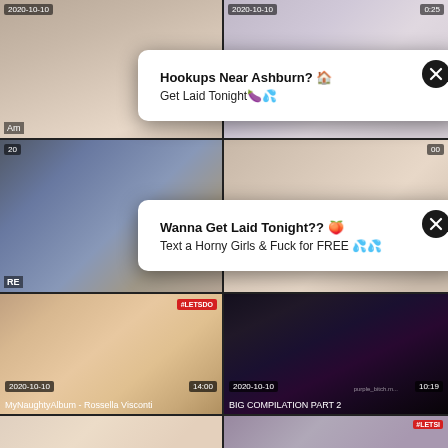[Figure (screenshot): Adult video thumbnail grid with two popup ad overlays. Top row shows two partially visible video thumbnails. Two white popup dialogs appear: first says 'Hookups Near Ashburn? Get Laid Tonight', second says 'Wanna Get Laid Tonight?? Text a Horny Girls & Fuck for FREE'. Middle row shows two more partial video thumbnails. Bottom section shows two full video thumbnails: 'MyNaughtyAlbum - Rossella Visconti' (2020-10-10, 14:00) with #LETSDO badge, and 'BIG COMPILATION PART 2' (2020-10-10, 10:19) with watermark. Partial bottom row of two more thumbnails visible.]